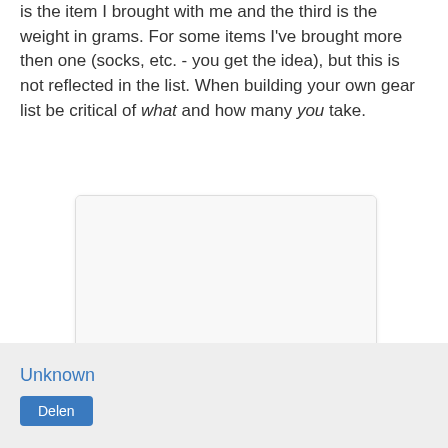is the item I brought with me and the third is the weight in grams. For some items I've brought more then one (socks, etc. - you get the idea), but this is not reflected in the list. When building your own gear list be critical of what and how many you take.
[Figure (photo): A blank/placeholder image area for a photo of gear in use on Ama Dablam]
Gear in use on Ama Dablam
Unknown
Delen